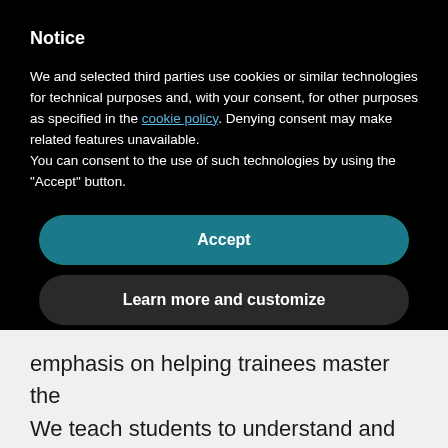Notice
We and selected third parties use cookies or similar technologies for technical purposes and, with your consent, for other purposes as specified in the cookie policy. Denying consent may make related features unavailable.
You can consent to the use of such technologies by using the "Accept" button.
Accept
Learn more and customize
emphasis on helping trainees master the practical application.
We teach students to understand and